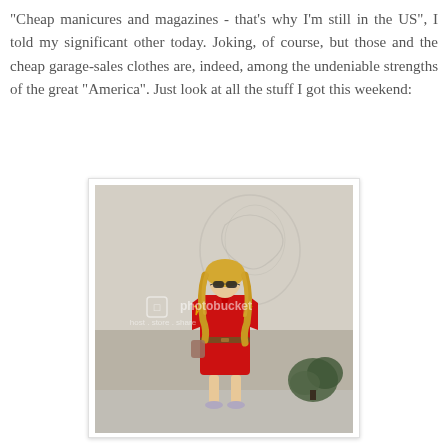"Cheap manicures and magazines - that's why I'm still in the US", I told my significant other today. Joking, of course, but those and the cheap garage-sales clothes are, indeed, among the undeniable strengths of the great "America". Just look at all the stuff I got this weekend:
[Figure (photo): A woman with long blonde curly hair and sunglasses wearing a red v-neck dress with yellow flame designs on the sleeves and a brown belt, standing in front of a wall with a relief sculpture. A small shrub is visible to the right. The image has a Photobucket watermark.]